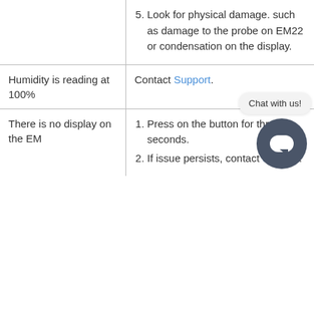5. Look for physical damage. such as damage to the probe on EM22 or condensation on the display.
| Issue | Resolution |
| --- | --- |
| Humidity is reading at 100% | Contact Support. |
| There is no display on the EM | 1. Press on the button for three seconds.
2. If issue persists, contact Support. |